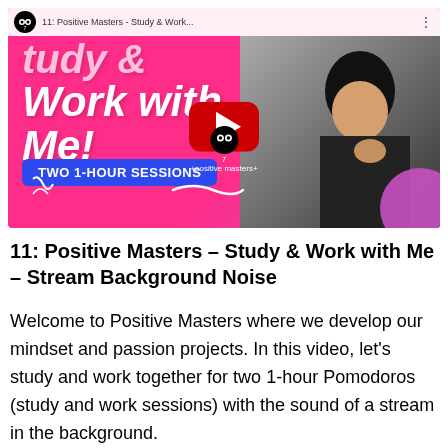[Figure (screenshot): YouTube video thumbnail for '11: Positive Masters - Study & Work...' showing a pink background with bold italic white text 'Study & Work with Me!', a YouTube play button in the center, a blue button reading 'TWO 1-HOUR SESSIONS', a person (woman with dark hair) visible on the right side, and the Positive Masters logo.]
11: Positive Masters – Study & Work with Me – Stream Background Noise
Welcome to Positive Masters where we develop our mindset and passion projects. In this video, let's study and work together for two 1-hour Pomodoros (study and work sessions) with the sound of a stream in the background.